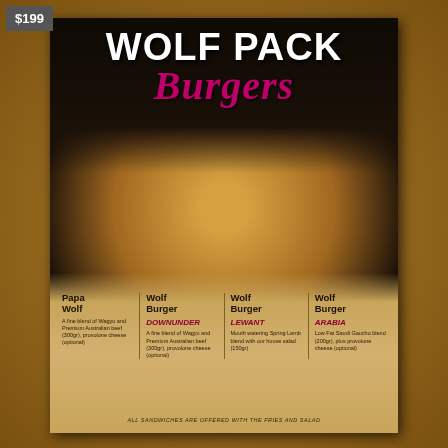$199
WOLF PACK
BURGERS
[Figure (photo): A large sesame seed bun burger with beef patty, cheese, tomato, and lettuce on a dramatic dark-to-golden background with dust/smoke effect]
Papa Wolf
A fine blend of Wagyu and Premium Australian beef (300gr), provolone cheese (optional)
Wolf Burger DOWNUNDER
A fine blend of Wagyu and Premium Australian beef (300gr), provolone cheese (optional)
Wolf Burger LEWANT
Mouth watering Spring Lamb blend with our house salad (150gr)
Wolf Burger ARABIA
Low Fat Saudi Gaucho blend (200gr), plus provolone cheese (optional)
ALL SANDWICHES ARE OFFERED WITH THE FRIES AND SALAD